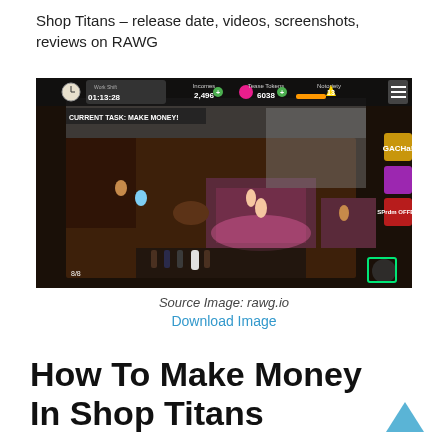Shop Titans – release date, videos, screenshots, reviews on RAWG
[Figure (screenshot): Screenshot of a game (appears to be an adult-themed nightclub simulator) showing an isometric view of a club interior with characters, furniture, a stage with performers, and HUD elements showing Work Shift timer 01:13:28, Income 2,496, Tease Tokens 6038, Notoriety 13, Current Task: MAKE MONEY!]
Source Image: rawg.io
Download Image
How To Make Money In Shop Titans